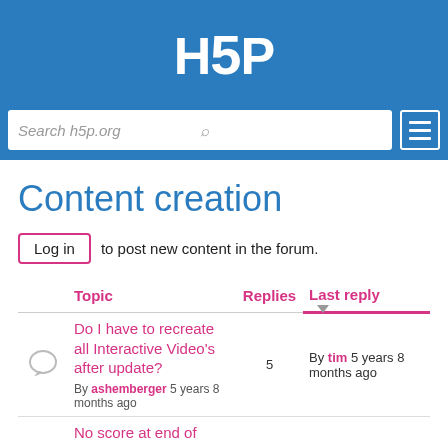H5P
Search h5p.org
Content creation
Log in to post new content in the forum.
|  | Topic | Replies | Last reply |
| --- | --- | --- | --- |
|  | Do I have to recreate all Interactive Video's after update?
By ashemberger 5 years 8 months ago | 5 | By tim 5 years 8 months ago |
|  | No score at end of |  |  |